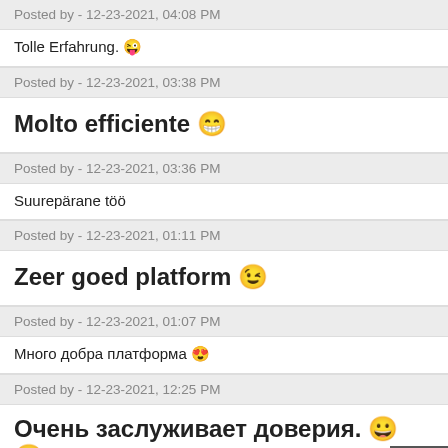Posted by - 12-23-2021, 04:08 PM
Tolle Erfahrung. 😜
Posted by - 12-23-2021, 03:38 PM
Molto efficiente 😁
Posted by - 12-23-2021, 03:36 PM
Suurepärane töö
Posted by - 12-23-2021, 01:11 PM
Zeer goed platform 😉
Posted by - 12-23-2021, 01:07 PM
Много добра платформа 😍
Posted by - 12-23-2021, 12:25 PM
Очень заслуживает доверия. 😀 😀